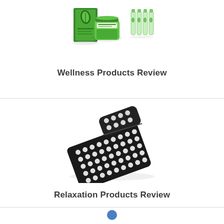[Figure (photo): Wellness hemp products including box, green cream jar, and small ampoule vials]
Wellness Products Review
[Figure (photo): Black acupressure mat with white spike points and a smaller matching pillow/cushion]
Relaxation Products Review
[Figure (other): Small blue circular icon or logo at the bottom of the page]